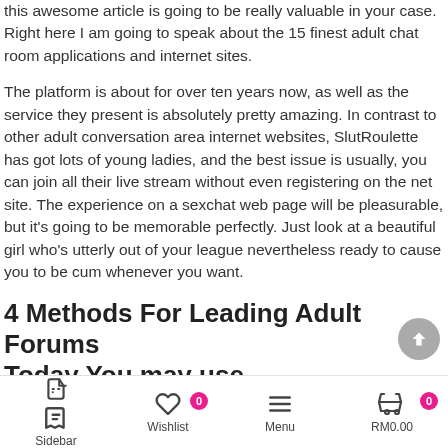this awesome article is going to be really valuable in your case. Right here I am going to speak about the 15 finest adult chat room applications and internet sites.
The platform is about for over ten years now, as well as the service they present is absolutely pretty amazing. In contrast to other adult conversation area internet websites, SlutRoulette has got lots of young ladies, and the best issue is usually, you can join all their live stream without even registering on the net site. The experience on a sexchat web page will be pleasurable, but it's going to be memorable perfectly. Just look at a beautiful girl who's utterly out of your league nevertheless ready to cause you to be cum whenever you want.
4 Methods For Leading Adult Forums Today You may use
Sidebar  Wishlist 0  Menu  RM0.00 0